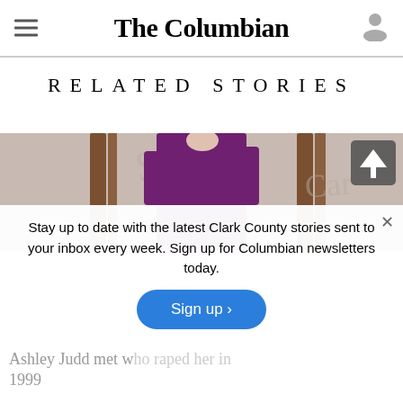The Columbian
RELATED STORIES
[Figure (photo): Photo strip showing a person in a purple dress standing in front of a decorative background]
Stay up to date with the latest Clark County stories sent to your inbox every week. Sign up for Columbian newsletters today.
Sign up >
Ashley Judd met w... raped her in 1999